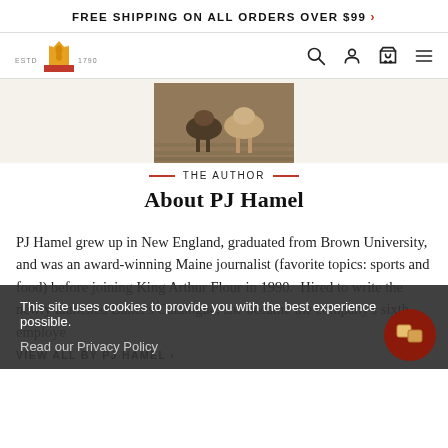FREE SHIPPING ON ALL ORDERS OVER $99 >
[Figure (logo): King Arthur Flour logo with crown/wheat emblem, ESTD 1790 text, and navigation icons (search, account, cart, menu)]
[Figure (photo): Author photo showing dogs on wooden steps/deck]
— THE AUTHOR —
About PJ Hamel
PJ Hamel grew up in New England, graduated from Brown University, and was an award-winning Maine journalist (favorite topics: sports and food) before joining King Arthur Flour in 1990. Hired to write the newly launched Baker's Catalogue, she became the company's sixth employe
This site uses cookies to provide you with the best experience possible.
Read our Privacy Policy
VIEW ALL BY PJ HAMEL >